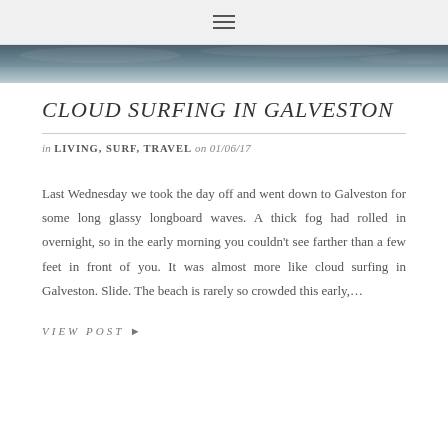☰
[Figure (photo): A moody coastal/ocean scene with foggy sky, dark blue-grey tones suggesting surf and clouds]
CLOUD SURFING IN GALVESTON
in LIVING, SURF, TRAVEL on 01/06/17
Last Wednesday we took the day off and went down to Galveston for some long glassy longboard waves. A thick fog had rolled in overnight, so in the early morning you couldn't see farther than a few feet in front of you. It was almost more like cloud surfing in Galveston. Slide. The beach is rarely so crowded this early,…
VIEW POST ▸